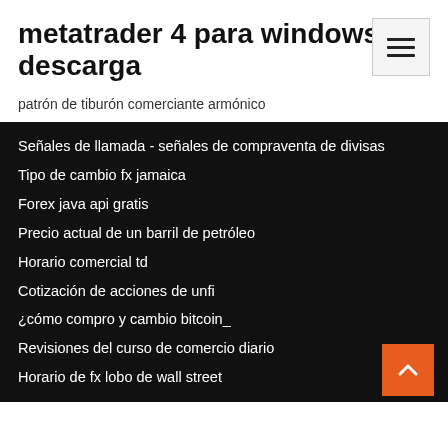metatrader 4 para windows 7 descarga
patrón de tiburón comerciante armónico
Señales de llamada - señales de compraventa de divisas
Tipo de cambio fx jamaica
Forex java api gratis
Precio actual de un barril de petróleo
Horario comercial td
Cotización de acciones de unfi
¿cómo compro y cambio bitcoin_
Revisiones del curso de comercio diario
Horario de fx lobo de wall street